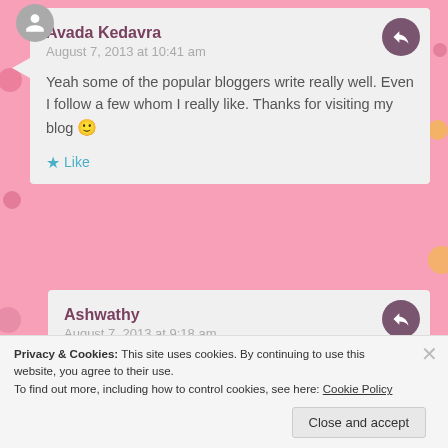Avada Kedavra
August 7, 2013 at 10:41 am
Yeah some of the popular bloggers write really well. Even I follow a few whom I really like. Thanks for visiting my blog 🙂
Like
Ashwathy
August 7, 2013 at 9:18 am
I think once you are a little more settled into blogging,
Privacy & Cookies: This site uses cookies. By continuing to use this website, you agree to their use.
To find out more, including how to control cookies, see here: Cookie Policy
Close and accept